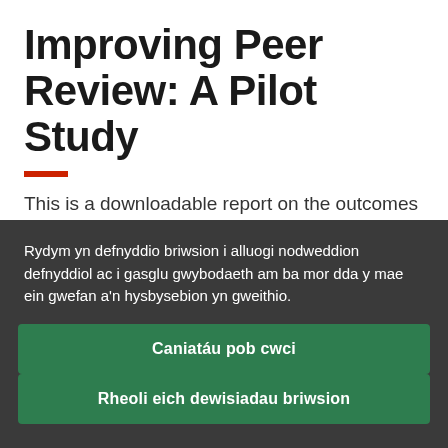Improving Peer Review: A Pilot Study
This is a downloadable report on the outcomes of a project investigating the role
Rydym yn defnyddio briwsion i alluogi nodweddion defnyddiol ac i gasglu gwybodaeth am ba mor dda y mae ein gwefan a'n hysbysebion yn gweithio.
Caniatáu pob cwci
Rheoli eich dewisiadau briwsion